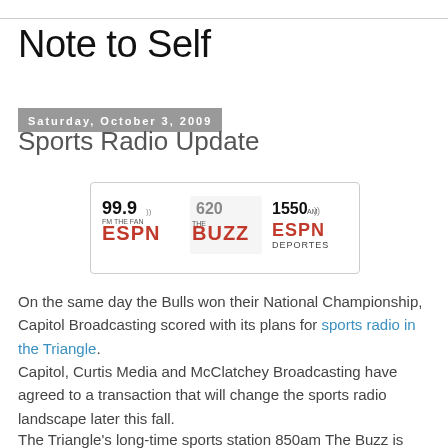Note to Self
Saturday, October 3, 2009
Sports Radio Update
[Figure (logo): Radio station logos: 99.9 FM The Fan ESPN, 620 The Buzz, 1550 AM ESPN Deportes]
On the same day the Bulls won their National Championship, Capitol Broadcasting scored with its plans for sports radio in the Triangle.
Capitol, Curtis Media and McClatchey Broadcasting have agreed to a transaction that will change the sports radio landscape later this fall.
The Triangle's long-time sports station 850am The Buzz is